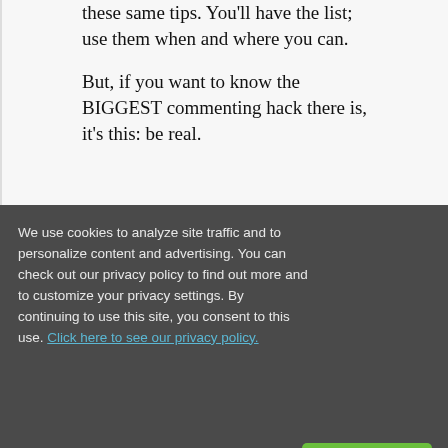these same tips. You'll have the list; use them when and where you can.
But, if you want to know the BIGGEST commenting hack there is, it's this: be real.
We use cookies to analyze site traffic and to personalize content and advertising. You can check out our privacy policy to find out more and to customize your privacy settings. By continuing to use this site, you consent to this use. Click here to see our privacy policy.